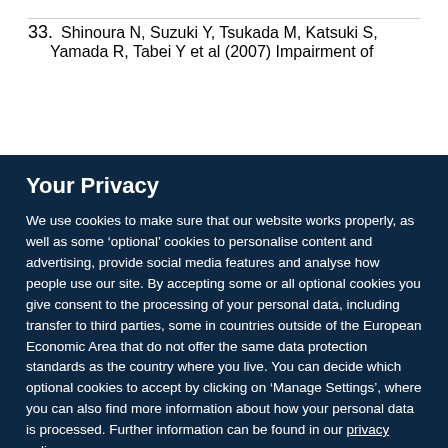33. Shinoura N, Suzuki Y, Tsukada M, Katsuki S, Yamada R, Tabei Y et al (2007) Impairment of
Your Privacy
We use cookies to make sure that our website works properly, as well as some ‘optional’ cookies to personalise content and advertising, provide social media features and analyse how people use our site. By accepting some or all optional cookies you give consent to the processing of your personal data, including transfer to third parties, some in countries outside of the European Economic Area that do not offer the same data protection standards as the country where you live. You can decide which optional cookies to accept by clicking on ‘Manage Settings’, where you can also find more information about how your personal data is processed. Further information can be found in our privacy policy.
Accept all cookies
Manage preferences